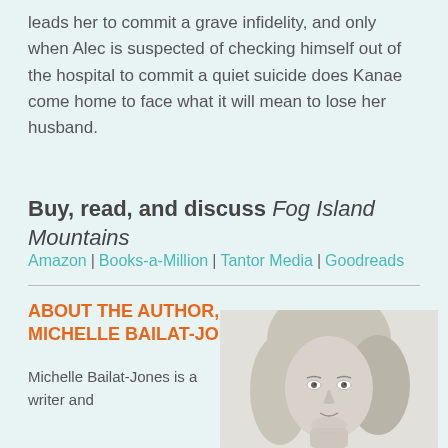leads her to commit a grave infidelity, and only when Alec is suspected of checking himself out of the hospital to commit a quiet suicide does Kanae come home to face what it will mean to lose her husband.
Buy, read, and discuss Fog Island Mountains
Amazon | Books-a-Million | Tantor Media | Goodreads
ABOUT THE AUTHOR, MICHELLE BAILAT-JONES
[Figure (photo): Black and white headshot photo of Michelle Bailat-Jones, a woman with straight shoulder-length light hair, looking slightly to the side with a faint smile.]
Michelle Bailat-Jones is a writer and